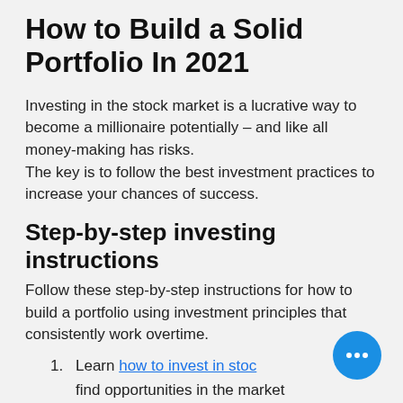How to Build a Solid Portfolio In 2021
Investing in the stock market is a lucrative way to become a millionaire potentially – and like all money-making has risks.
The key is to follow the best investment practices to increase your chances of success.
Step-by-step investing instructions
Follow these step-by-step instructions for how to build a portfolio using investment principles that consistently work overtime.
1. Learn how to invest in stocks find opportunities in the market